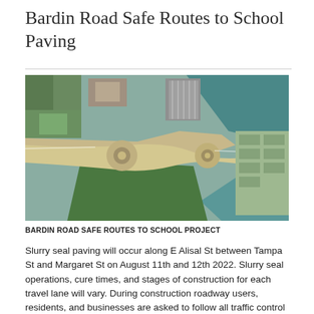Bardin Road Safe Routes to School Paving
[Figure (photo): Aerial/satellite view of Bardin Road Safe Routes to School project area, showing road roundabouts, intersections, and surrounding landscape including green fields and water body]
BARDIN ROAD SAFE ROUTES TO SCHOOL PROJECT
Slurry seal paving will occur along E Alisal St between Tampa St and Margaret St on August 11th and 12th 2022. Slurry seal operations, cure times, and stages of construction for each travel lane will vary. During construction roadway users, residents, and businesses are asked to follow all traffic control